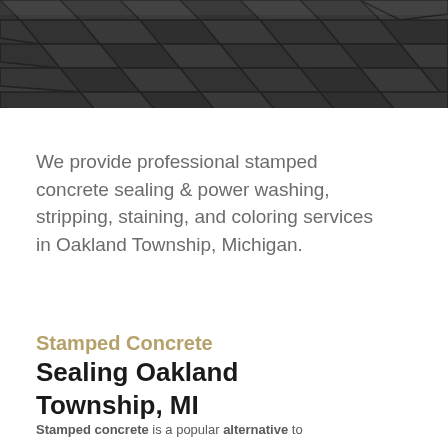[Figure (photo): Dark gray stamped concrete paver tiles viewed from above, filling the header area.]
We provide professional stamped concrete sealing & power washing, stripping, staining, and coloring services in Oakland Township, Michigan.
Stamped Concrete Sealing Oakland Township, MI
Stamped concrete is a popular alternative to